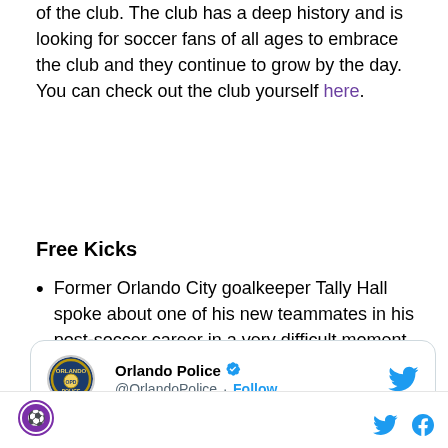of the club. The club has a deep history and is looking for soccer fans of all ages to embrace the club and they continue to grow by the day. You can check out the club yourself here.
Free Kicks
Former Orlando City goalkeeper Tally Hall spoke about one of his new teammates in his post-soccer career in a very difficult moment.
[Figure (screenshot): Embedded tweet from @OrlandoPolice with text: OPD Officer Talmon Hall talks about his squad mate, Officer Kevin Valencia, who]